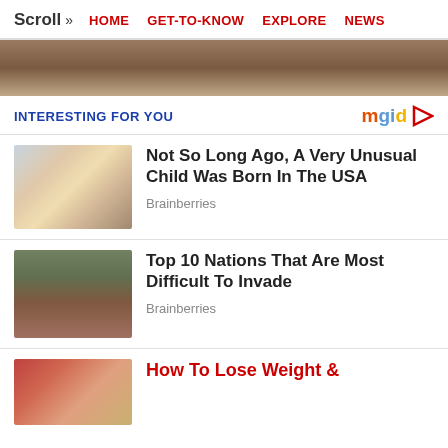Scroll >> HOME  GET-TO-KNOW  EXPLORE  NEWS
[Figure (photo): Partial cropped photo showing person's shoulder/back in outdoor setting]
INTERESTING FOR YOU
[Figure (logo): mgid logo with play arrow]
Not So Long Ago, A Very Unusual Child Was Born In The USA — Brainberries
Top 10 Nations That Are Most Difficult To Invade — Brainberries
How To Lose Weight &